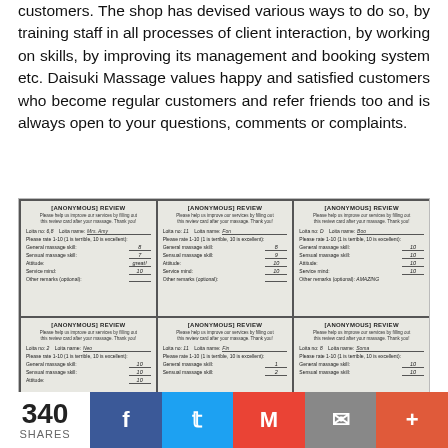customers. The shop has devised various ways to do so, by training staff in all processes of client interaction, by working on skills, by improving its management and booking system etc. Daisuki Massage values happy and satisfied customers who become regular customers and refer friends too and is always open to your questions, comments or complaints.
[Figure (photo): Six anonymous review cards from Daisuki Massage arranged in a 3x2 grid. Cards show ratings for General massage skill, Sensual massage skill, Attitude, Service mind, and Other remarks. Visible entries include Loita names like Mrs. Amy, Fon, Boo, Neo, Fin, Soma with various ratings including 10s and one remark 'AMAZING'.]
340 SHARES